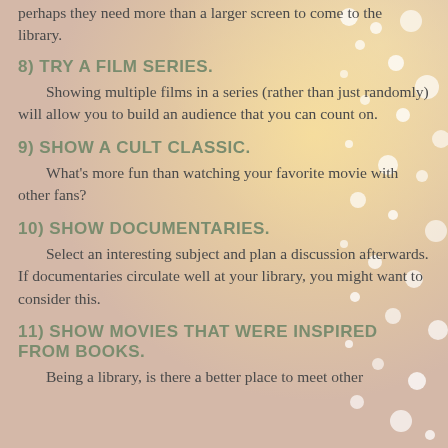perhaps they need more than a larger screen to come to the library.
8) TRY A FILM SERIES.
Showing multiple films in a series (rather than just randomly) will allow you to build an audience that you can count on.
9) SHOW A CULT CLASSIC.
What's more fun than watching your favorite movie with other fans?
10) SHOW DOCUMENTARIES.
Select an interesting subject and plan a discussion afterwards. If documentaries circulate well at your library, you might want to consider this.
11) SHOW MOVIES THAT WERE INSPIRED FROM BOOKS.
Being a library, is there a better place to meet other